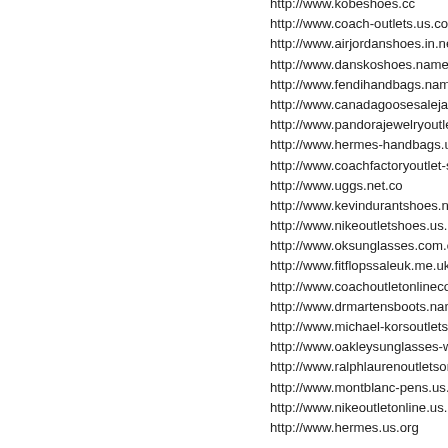http://www.kobeshoes.cc
http://www.coach-outlets.us.com
http://www.airjordanshoes.in.net
http://www.danskoshoes.name
http://www.fendihandbags.name
http://www.canadagoosesalejackets.us.c
http://www.pandorajewelryoutlet.in.net
http://www.hermes-handbags.us
http://www.coachfactoryoutlet-stores.us
http://www.uggs.net.co
http://www.kevindurantshoes.name
http://www.nikeoutletshoes.us.com
http://www.oksunglasses.com.co
http://www.fitflopssaleuk.me.uk
http://www.coachoutletonlinecoachfact
http://www.drmartensboots.name
http://www.michael-korsoutlets.eu.com
http://www.oakleysunglasses-wholesale
http://www.ralphlaurenoutletsonline.us.
http://www.montblanc-pens.us.org
http://www.nikeoutletonline.us.com
http://www.hermes.us.org